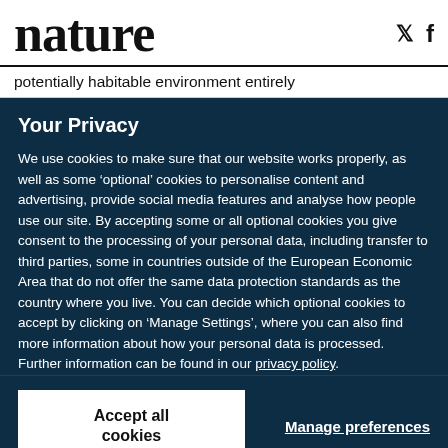nature
potentially habitable environment entirely
Your Privacy
We use cookies to make sure that our website works properly, as well as some ‘optional’ cookies to personalise content and advertising, provide social media features and analyse how people use our site. By accepting some or all optional cookies you give consent to the processing of your personal data, including transfer to third parties, some in countries outside of the European Economic Area that do not offer the same data protection standards as the country where you live. You can decide which optional cookies to accept by clicking on ‘Manage Settings’, where you can also find more information about how your personal data is processed. Further information can be found in our privacy policy.
Accept all cookies
Manage preferences